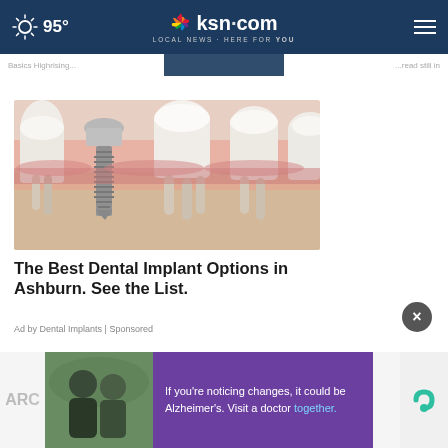95° | ksn.com LOCAL NEWS · HERE FOR YOU
[Figure (illustration): Medical illustration of a dental implant showing a titanium screw inserted into the jawbone between natural teeth, cross-section view]
The Best Dental Implant Options in Ashburn. See the List.
Ad by Dental Implants | Sponsored
[Figure (photo): Bottom advertisement banner: two men talking outdoors with purple overlay text 'If you're noticing changes, it could be Alzheimer's. Visit a doctor together.' and a teal C logo on the right]